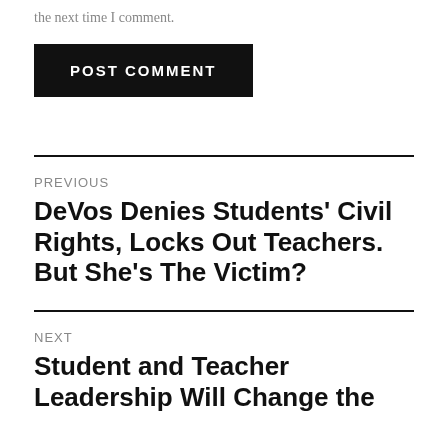the next time I comment.
POST COMMENT
PREVIOUS
DeVos Denies Students' Civil Rights, Locks Out Teachers. But She's The Victim?
NEXT
Student and Teacher Leadership Will Change the